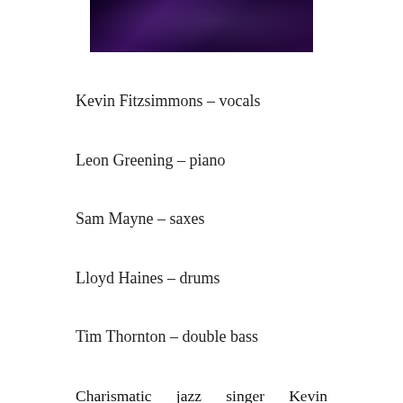[Figure (photo): Dark stage photo, partial view, dark purple/black tones]
Kevin Fitzsimmons – vocals
Leon Greening – piano
Sam Mayne – saxes
Lloyd Haines – drums
Tim Thornton – double bass
Charismatic jazz singer Kevin Fitzsimmons takes a break from starring in the big band concert 'Sinatra Sequins & Swing – The Capitol Years Live! to bring his brilliant 'Bennett – To – Buble':